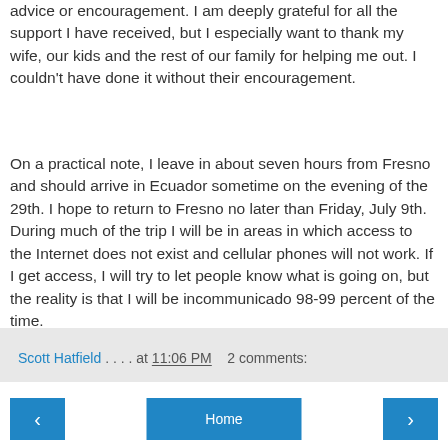advice or encouragement. I am deeply grateful for all the support I have received, but I especially want to thank my wife, our kids and the rest of our family for helping me out. I couldn't have done it without their encouragement.
On a practical note, I leave in about seven hours from Fresno and should arrive in Ecuador sometime on the evening of the 29th. I hope to return to Fresno no later than Friday, July 9th. During much of the trip I will be in areas in which access to the Internet does not exist and cellular phones will not work. If I get access, I will try to let people know what is going on, but the reality is that I will be incommunicado 98-99 percent of the time.
Please know, however, that you will be in my thoughts and that I hope to have many adventures worth recounting.
Scott Hatfield . . . . at 11:06 PM   2 comments:
< Home >